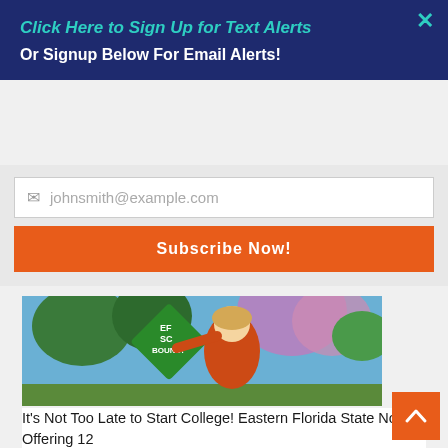×
Click Here to Sign Up for Text Alerts
Or Signup Below For Email Alerts!
johnsmith@example.com
Subscribe Now!
[Figure (photo): Young woman smiling and holding a green diamond-shaped sign reading 'EFSC BOUND!' outdoors with trees and blue sky in the background]
It's Not Too Late to Start College! Eastern Florida State Now Offering 12